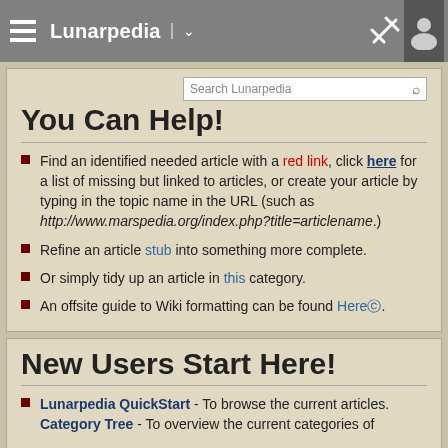Lunarpedia
You Can Help!
Find an identified needed article with a red link, click here for a list of missing but linked to articles, or create your article by typing in the topic name in the URL (such as http://www.marspedia.org/index.php?title=articlename.)
Refine an article stub into something more complete.
Or simply tidy up an article in this category.
An offsite guide to Wiki formatting can be found Hereⓒ.
New Users Start Here!
Lunarpedia QuickStart - To browse the current articles. Category Tree - To overview the current categories of